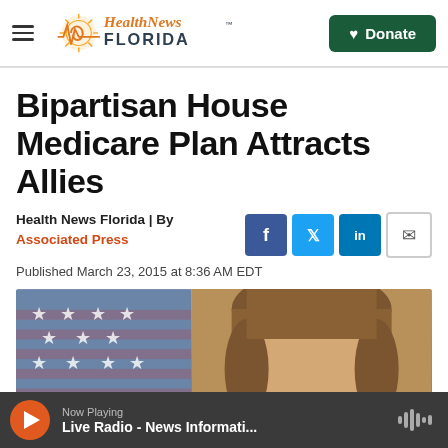Health News Florida — Donate
Bipartisan House Medicare Plan Attracts Allies
Health News Florida | By Associated Press
Published March 23, 2015 at 8:36 AM EDT
[Figure (photo): Partial photo of a person in front of an American flag]
Now Playing
Live Radio - News Informati...